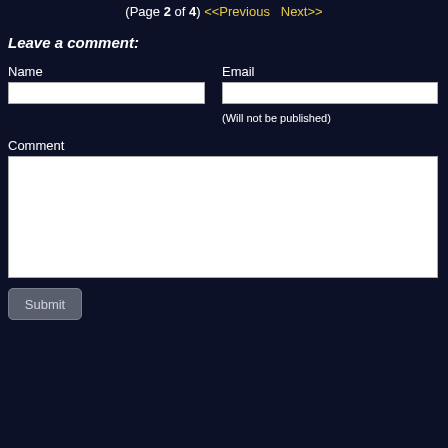(Page 2 of 4) <<Previous  Next>>
Leave a comment:
Name
Email
(Will not be published)
Comment
Submit